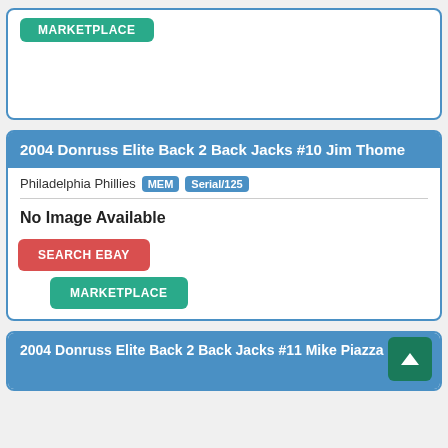[Figure (screenshot): Top card partial view showing a MARKETPLACE button on a teal background card with white border]
2004 Donruss Elite Back 2 Back Jacks #10 Jim Thome
Philadelphia Phillies MEM Serial/125
No Image Available
SEARCH EBAY
MARKETPLACE
2004 Donruss Elite Back 2 Back Jacks #11 Mike Piazza